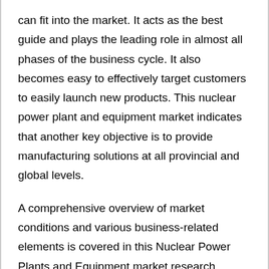can fit into the market. It acts as the best guide and plays the leading role in almost all phases of the business cycle. It also becomes easy to effectively target customers to easily launch new products. This nuclear power plant and equipment market indicates that another key objective is to provide manufacturing solutions at all provincial and global levels.
A comprehensive overview of market conditions and various business-related elements is covered in this Nuclear Power Plants and Equipment market research report. It enables business actors to reach target groups and provides all important